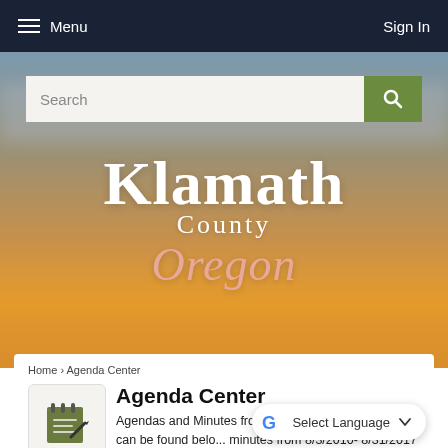Menu   Sign In
[Figure (screenshot): Klamath County Oregon government website header with search bar and scenic sunset landscape background with Klamath County Oregon logo]
Home › Agenda Center
Agenda Center
Agendas and Minutes from 8/1/2017 to the present can be found belo... minutes from 8/3/2010- 8/31/2017 can be found